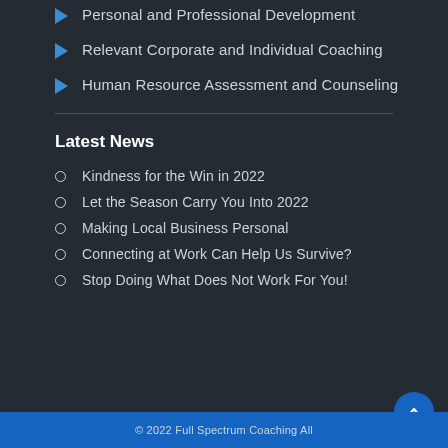Personal and Professional Development
Relevant Corporate and Individual Coaching
Human Resource Assessment and Counseling
Latest News
Kindness for the Win in 2022
Let the Season Carry You Into 2022
Making Local Business Personal
Connecting at Work Can Help Us Survive?
Stop Doing What Does Not Work For You!
© 2022 Full Spectrum Coaching All